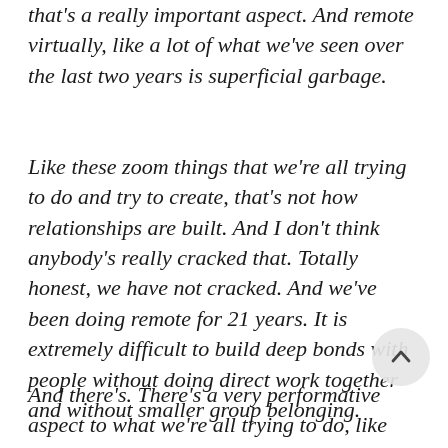that's a really important aspect. And remote virtually, like a lot of what we've seen over the last two years is superficial garbage.
Like these zoom things that we're all trying to do and try to create, that's not how relationships are built. And I don't think anybody's really cracked that. Totally honest, we have not cracked. And we've been doing remote for 21 years. It is extremely difficult to build deep bonds with people without doing direct work together and without smaller group belonging.
And there's. There's a very performative aspect to what we're all trying to do, like independent MC trying to build bonds and trying to build community...